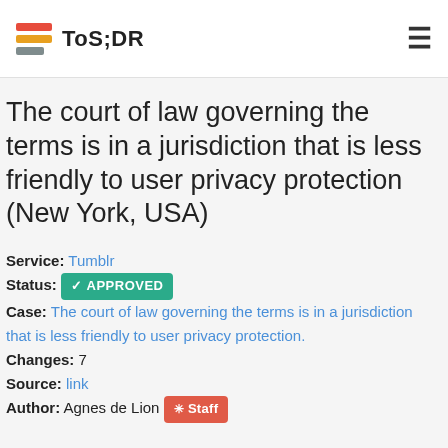ToS;DR
The court of law governing the terms is in a jurisdiction that is less friendly to user privacy protection (New York, USA)
Service: Tumblr
Status: APPROVED
Case: The court of law governing the terms is in a jurisdiction that is less friendly to user privacy protection.
Changes: 7
Source: link
Author: Agnes de Lion Staff